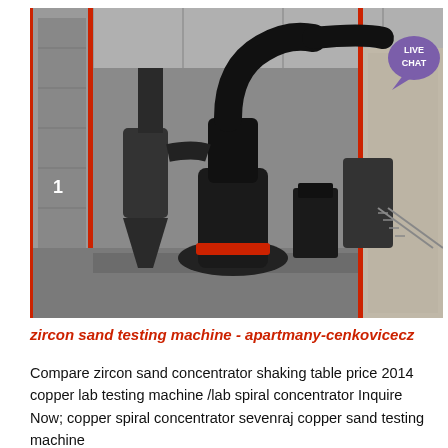[Figure (photo): Industrial grinding/milling machine inside a factory with large black ductwork pipes and cyclone separator, with other industrial equipment visible in the background. A live chat widget bubble appears in the top right corner.]
zircon sand testing machine - apartmany-cenkovicecz
Compare zircon sand concentrator shaking table price 2014 copper lab testing machine /lab spiral concentrator Inquire Now; copper spiral concentrator sevenraj copper sand testing machine